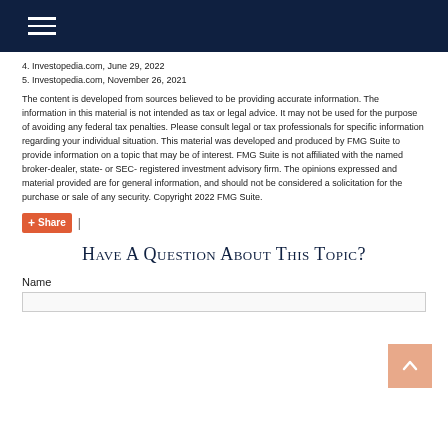4. Investopedia.com, June 29, 2022
5. Investopedia.com, November 26, 2021
The content is developed from sources believed to be providing accurate information. The information in this material is not intended as tax or legal advice. It may not be used for the purpose of avoiding any federal tax penalties. Please consult legal or tax professionals for specific information regarding your individual situation. This material was developed and produced by FMG Suite to provide information on a topic that may be of interest. FMG Suite is not affiliated with the named broker-dealer, state- or SEC-registered investment advisory firm. The opinions expressed and material provided are for general information, and should not be considered a solicitation for the purchase or sale of any security. Copyright 2022 FMG Suite.
Share |
Have A Question About This Topic?
Name